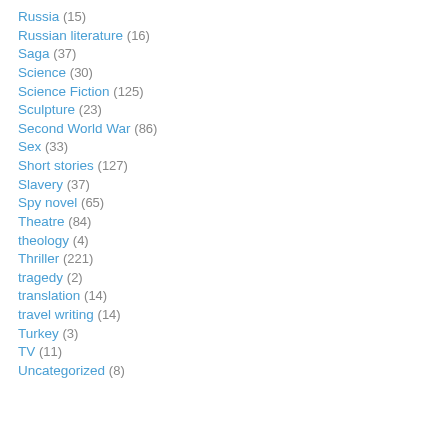Russia (15)
Russian literature (16)
Saga (37)
Science (30)
Science Fiction (125)
Sculpture (23)
Second World War (86)
Sex (33)
Short stories (127)
Slavery (37)
Spy novel (65)
Theatre (84)
theology (4)
Thriller (221)
tragedy (2)
translation (14)
travel writing (14)
Turkey (3)
TV (11)
Uncategorized (8)